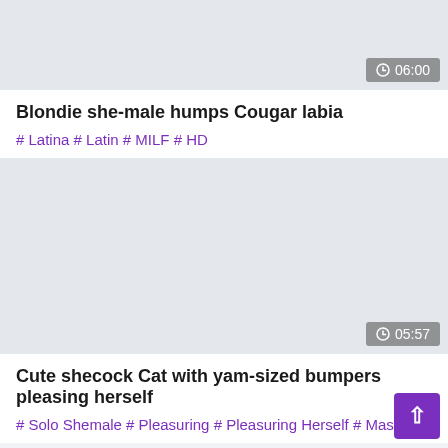[Figure (screenshot): Video thumbnail placeholder with gray background, top video card]
06:00
Blondie she-male humps Cougar labia
# Latina # Latin # MILF # HD
[Figure (screenshot): Video thumbnail placeholder with gray background, bottom video card]
05:57
Cute shecock Cat with yam-sized bumpers pleasing herself
# Solo Shemale # Pleasuring # Pleasuring Herself # Massive T